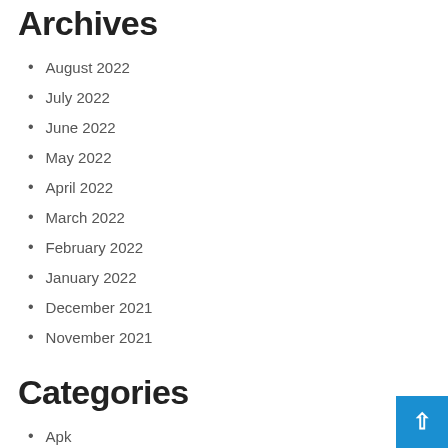Archives
August 2022
July 2022
June 2022
May 2022
April 2022
March 2022
February 2022
January 2022
December 2021
November 2021
Categories
Apk